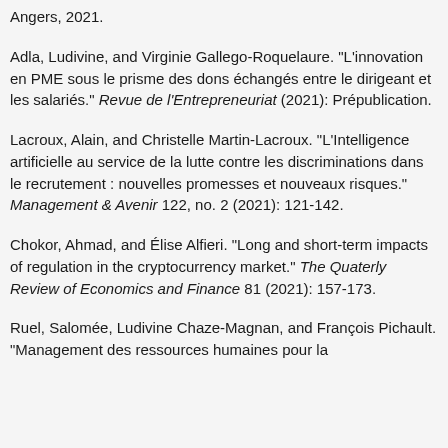Angers, 2021.
Adla, Ludivine, and Virginie Gallego-Roquelaure. "L'innovation en PME sous le prisme des dons échangés entre le dirigeant et les salariés." Revue de l'Entrepreneuriat (2021): Prépublication.
Lacroux, Alain, and Christelle Martin-Lacroux. "L'Intelligence artificielle au service de la lutte contre les discriminations dans le recrutement : nouvelles promesses et nouveaux risques." Management & Avenir 122, no. 2 (2021): 121-142.
Chokor, Ahmad, and Élise Alfieri. "Long and short-term impacts of regulation in the cryptocurrency market." The Quaterly Review of Economics and Finance 81 (2021): 157-173.
Ruel, Salomée, Ludivine Chaze-Magnan, and François Pichault. "Management des ressources humaines pour la